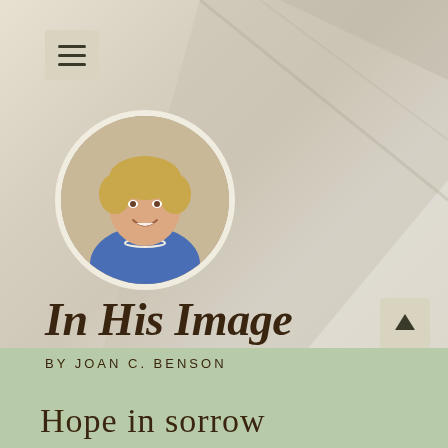[Figure (photo): Circular author photo of an older woman with short blonde hair, wearing a blue top and pearl necklace, smiling]
In His Image
BY JOAN C. BENSON
[Figure (screenshot): Menu hamburger button icon in top-left corner on tan/khaki background]
Hope in sorrow